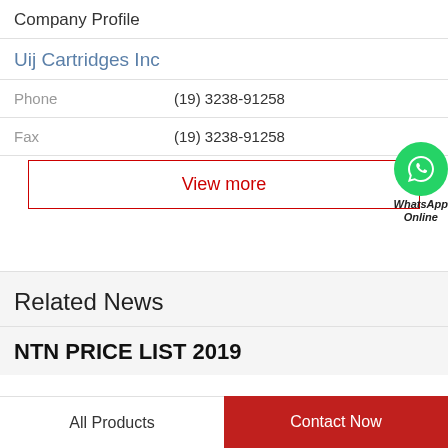Company Profile
Uij Cartridges Inc
Phone  (19) 3238-91258
Fax  (19) 3238-91258
View more
[Figure (logo): WhatsApp Online green circle icon with phone handset, labeled WhatsApp Online]
Related News
NTN PRICE LIST 2019
All Products
Contact Now